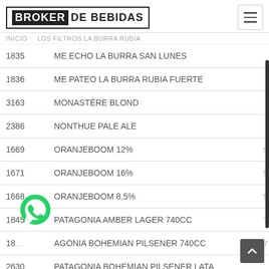[Figure (logo): Broker de Bebidas logo in bordered box with hamburger menu icon]
INICIO · LOS FILTROS LA BURRA RUBIA
| Code | Name | Price |
| --- | --- | --- |
| 1835 | ME ECHO LA BURRA SAN LUNES |  |
| 1836 | ME PATEO LA BURRA RUBIA FUERTE |  |
| 3163 | MONASTÉRE BLOND |  |
| 2386 | NONTHUE PALE ALE |  |
| 1669 | ORANJEBOOM 12% | 5 |
| 1671 | ORANJEBOOM 16% | 5 |
| 1668 | ORANJEBOOM 8,5% | 5 |
| 1845 | PATAGONIA AMBER LAGER 740CC | 7 |
| 18... | PATAGONIA BOHEMIAN PILSENER 740CC | 7 |
| 2630 | PATAGONIA BOHEMIAN PILSENER LATA |  |
[Figure (logo): WhatsApp floating button icon]
[Figure (other): Scroll to top button]